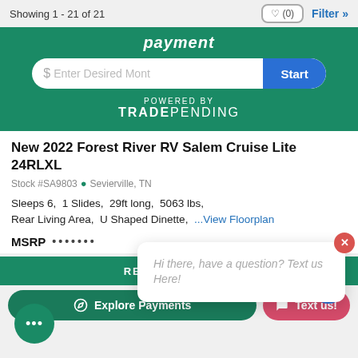Showing 1 - 21 of 21
[Figure (screenshot): Green banner with payment calculator widget showing '$ Enter Desired Mont' input field and 'Start' blue button, with 'POWERED BY TRADE PENDING' text below]
New 2022 Forest River RV Salem Cruise Lite 24RLXL
Stock #SA9803  Sevierville, TN
Sleeps 6,  1 Slides,  29ft long,  5063 lbs,  Rear Living Area,  U Shaped Dinette,  ...View Floorplan
MSRP
[Figure (screenshot): Green REQUEST QUOTE button bar]
Hi there, have a question? Text us Here!
Explore Payments
Text us!